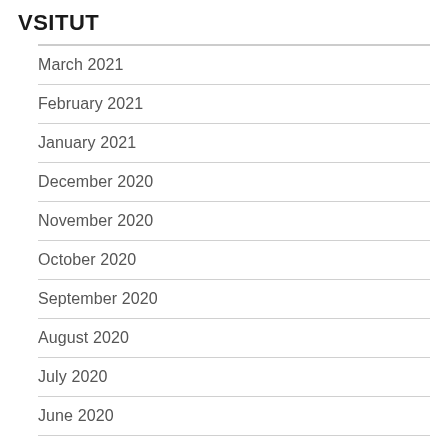VSITUT
March 2021
February 2021
January 2021
December 2020
November 2020
October 2020
September 2020
August 2020
July 2020
June 2020